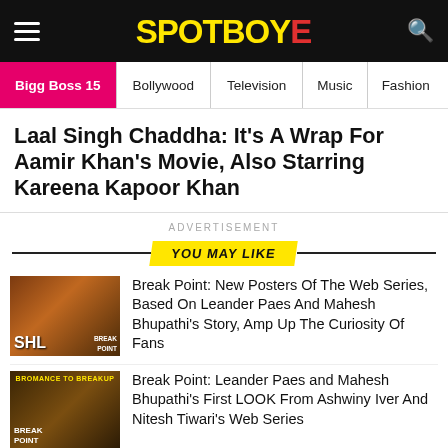SpotboyE
Bigg Boss 15 | Bollywood | Television | Music | Fashion
Laal Singh Chaddha: It's A Wrap For Aamir Khan's Movie, Also Starring Kareena Kapoor Khan
ADVERTISEMENT
YOU MAY LIKE
[Figure (photo): Break Point web series poster featuring tennis players]
Break Point: New Posters Of The Web Series, Based On Leander Paes And Mahesh Bhupathi's Story, Amp Up The Curiosity Of Fans
[Figure (photo): Break Point: Bromance to Breakup web series poster]
Break Point: Leander Paes and Mahesh Bhupathi's First LOOK From Ashwiny Iver And Nitesh Tiwari's Web Series